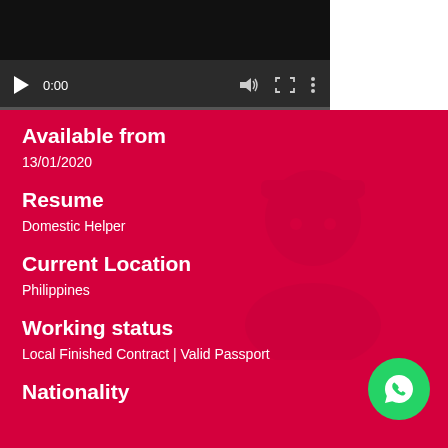[Figure (screenshot): Video player with dark background, play button, 0:00 timestamp, volume, fullscreen, and menu icons, with a progress bar at the bottom]
Available from
13/01/2020
Resume
Domestic Helper
Current Location
Philippines
Working status
Local Finished Contract | Valid Passport
Nationality